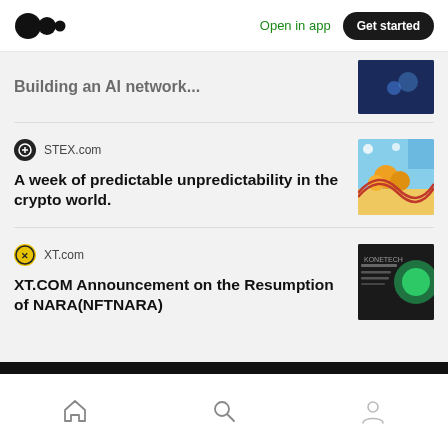Medium logo | Open in app | Get started
Building an AI network...
STEX.com
A week of predictable unpredictability in the crypto world.
XT.com
XT.COM Announcement on the Resumption of NARA(NFTNARA)
Home | Search | Profile